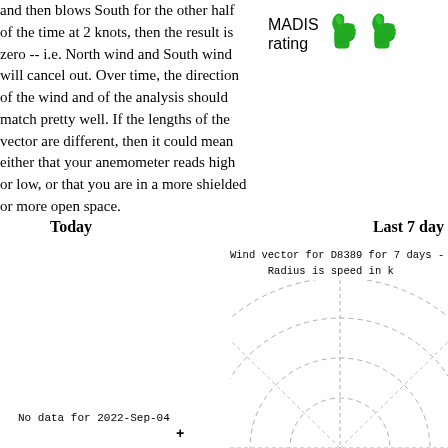and then blows South for the other half of the time at 2 knots, then the result is zero -- i.e. North wind and South wind will cancel out. Over time, the direction of the wind and of the analysis should match pretty well. If the lengths of the vector are different, then it could mean either that your anemometer reads high or low, or that you are in a more shielded or more open space.
[Figure (illustration): MADIS rating with two green thumbs-up emoji icons]
Today
Last 7 day
Wind vector for D8389 for 7 days - Radius is speed in k
[Figure (radar-chart): Partial radar/wind rose chart with concentric dashed circles and cross-hair axes, showing wind vector data for station D8389]
No data for 2022-Sep-04